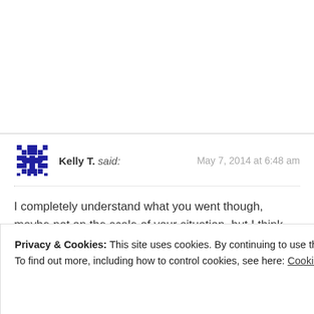Kelly T. said: May 7, 2014 at 6:48 am
I completely understand what you went though, maybe not on the scale of your situation, but I think we all fail once in a while and have to pick ourselves back up. I believe we fail to learn, it's as simple as that. I've learned from every mistake I have made and it seems like you have as well. Keep up the good work and keep inspiring others with your blog and your work.
Privacy & Cookies: This site uses cookies. By continuing to use this website, you agree to their use. To find out more, including how to control cookies, see here: Cookie Policy
Close and accept